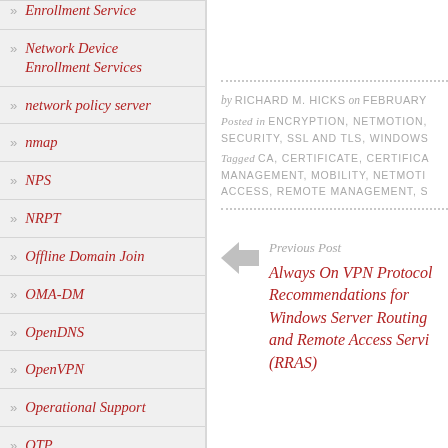» Enrollment Service
» Network Device Enrollment Services
» network policy server
» nmap
» NPS
» NRPT
» Offline Domain Join
» OMA-DM
» OpenDNS
» OpenVPN
» Operational Support
» OTP
» PEAP
by RICHARD M. HICKS on FEBRUARY
Posted in ENCRYPTION, NETMOTION, SECURITY, SSL AND TLS, WINDOWS
Tagged CA, CERTIFICATE, CERTIFICATE MANAGEMENT, MOBILITY, NETMOTION, ACCESS, REMOTE MANAGEMENT, SS
Previous Post
Always On VPN Protocol Recommendations for Windows Server Routing and Remote Access Service (RRAS)